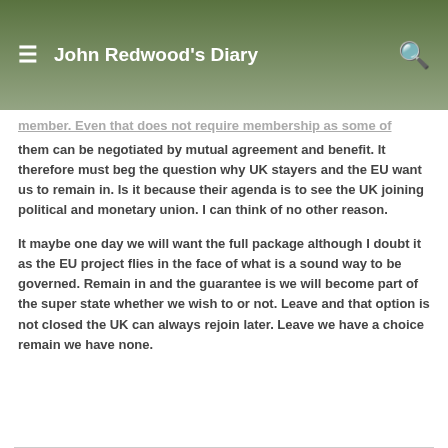John Redwood's Diary
member. Even that does not require membership as some of them can be negotiated by mutual agreement and benefit. It therefore must beg the question why UK stayers and the EU want us to remain in. Is it because their agenda is to see the UK joining political and monetary union. I can think of no other reason.
It maybe one day we will want the full package although I doubt it as the EU project flies in the face of what is a sound way to be governed. Remain in and the guarantee is we will become part of the super state whether we wish to or not. Leave and that option is not closed the UK can always rejoin later. Leave we have a choice remain we have none.